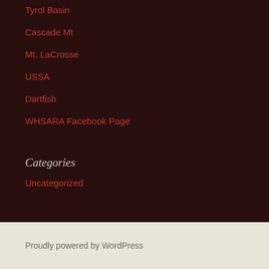Tyrol Basin
Cascade Mt
Mt. LaCrosse
USSA
Dartfish
WHSARA Facebook Page
Categories
Uncategorized
Proudly powered by WordPress